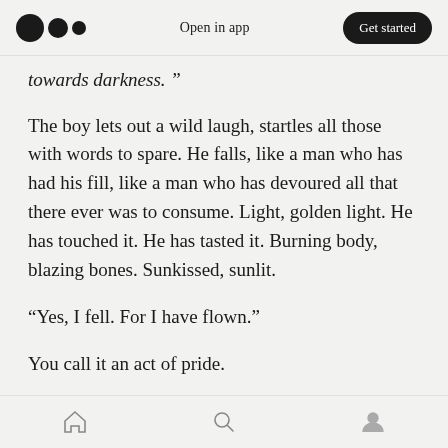Open in app | Get started
towards darkness. ”
The boy lets out a wild laugh, startles all those with words to spare. He falls, like a man who has had his fill, like a man who has devoured all that there ever was to consume. Light, golden light. He has touched it. He has tasted it. Burning body, blazing bones. Sunkissed, sunlit.
“Yes, I fell. For I have flown.”
You call it an act of pride.
He calls it an act of love.
Home | Search | Profile